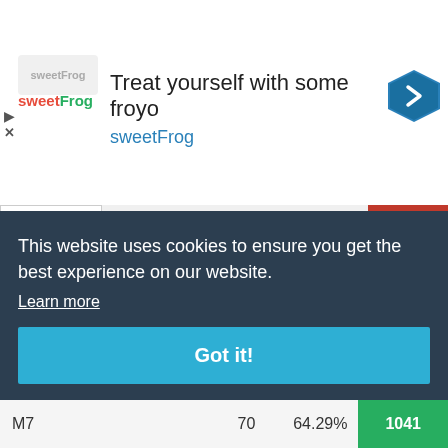[Figure (screenshot): Ad banner for sweetFrog frozen yogurt: logo, headline 'Treat yourself with some froyo', subtext 'sweetFrog', navigation arrow icon]
|  |  |  |  |
| --- | --- | --- | --- |
| xperimental | 13 | 46.15% | 379 |
| Nashorn | 97 | 43.3% | 1403 |
| MT-25 | 61 | 54.1% | 851 |
| MS-1 | 10 | 20% | 0 |
| Matilda Black Pri... | 48 | 64.44% | 1737 |
|  |  |  | 16 |
|  |  |  | 5 |
|  |  |  | 98 |
|  |  |  | 56 |
|  |  |  | 3 |
This website uses cookies to ensure you get the best experience on our website.
Learn more
Got it!
|  |  |  |  |
| --- | --- | --- | --- |
| M7 | 70 | 64.29% | 1041 |